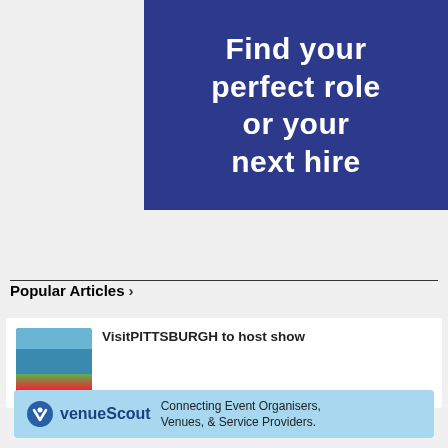[Figure (illustration): Dark blue advertisement banner with white bold text reading 'Find your perfect role or your next hire']
Popular Articles >
[Figure (photo): Thumbnail photo of Pittsburgh cityscape with water and buildings]
VisitPITTSBURGH to host show
[Figure (illustration): venueScout advertisement banner in light blue: logo with bird icon, 'venueScout', tagline 'Connecting Event Organisers, Venues, & Service Providers.']